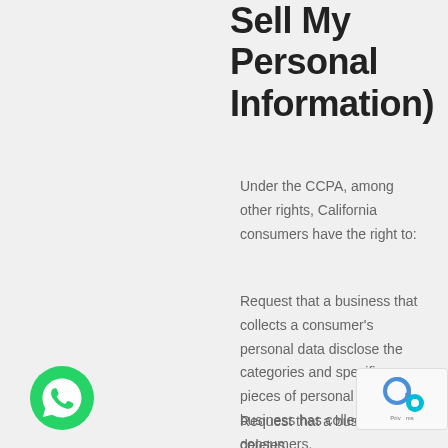Sell My Personal Information)
Under the CCPA, among other rights, California consumers have the right to:
Request that a business that collects a consumer's personal data disclose the categories and specific pieces of personal data that a business has collected about consumers.
Request that a business deletes
[Figure (logo): WhatsApp green phone icon]
[Figure (logo): reCAPTCHA badge with privacy and terms text]